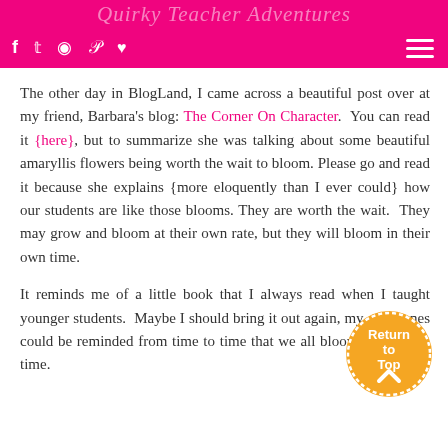Social media icons header bar with Facebook, Twitter, Instagram, Pinterest, heart icons and hamburger menu
The other day in BlogLand, I came across a beautiful post over at my friend, Barbara's blog: The Corner On Character. You can read it {here}, but to summarize she was talking about some beautiful amaryllis flowers being worth the wait to bloom. Please go and read it because she explains {more eloquently than I ever could} how our students are like those blooms. They are worth the wait. They may grow and bloom at their own rate, but they will bloom in their own time.
It reminds me of a little book that I always read when I taught younger students. Maybe I should bring it out again, my older ones could be reminded from time to time that we all bloom in our own time.
[Figure (illustration): Orange circular badge with white text reading 'Return to Top' and an upward chevron arrow, with dotted border]